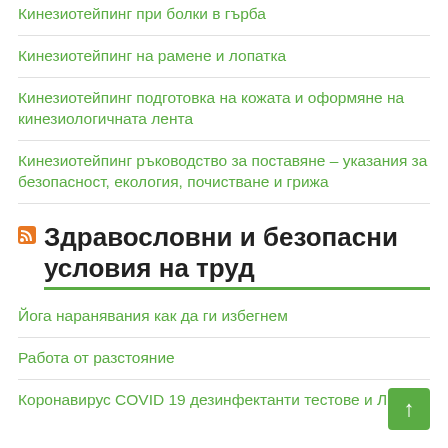Кинезиотейпинг при болки в гърба
Кинезиотейпинг на рамене и лопатка
Кинезиотейпинг подготовка на кожата и оформяне на кинезиологичната лента
Кинезиотейпинг ръководство за поставяне – указания за безопасност, екология, почистване и грижа
Здравословни и безопасни условия на труд
Йога наранявания как да ги избегнем
Работа от разстояние
Коронавирус COVID 19 дезинфектанти тестове и ЛПС